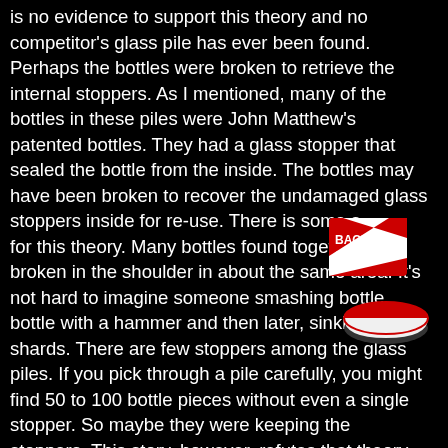is no evidence to support this theory and no competitor's glass pile has ever been found. Perhaps the bottles were broken to retrieve the internal stoppers. As I mentioned, many of the bottles in these piles were John Matthew's patented bottles. They had a glass stopper that sealed the bottle from the inside. The bottles may have been broken to recover the undamaged glass stoppers inside for re-use. There is some s for this theory. Many bottles found together broken in the shoulder in about the same area. It's not hard to imagine someone smashing bottle bottle with a hammer and then later, sinking the shards. There are few stoppers among the glass piles. If you pick through a pile carefully, you might find 50 to 100 bottle pieces without even a single stopper. So maybe they were keeping the stoppers. This story, however, refutes that theory. What the piles probably represent then, is the working trash piles of one bottler over the years. As returnable bottles, these Matthew's bottles were used and returned. They were cleaned and re-filled. Ultimately, some chipped, cracked, and became
[Figure (illustration): Red and white dive flag badge with text 'BACK TO SURFACE' and a red/white disc icon below it]